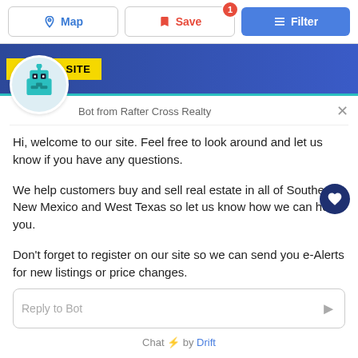[Figure (screenshot): Top toolbar with Map, Save (badge:1), and Filter buttons]
[Figure (screenshot): Listing banner with NEW ON SITE tag, blue gradient background, heart button, and robot avatar chatbot icon]
Bot from Rafter Cross Realty
Hi, welcome to our site. Feel free to look around and let us know if you have any questions.
We help customers buy and sell real estate in all of Southeast New Mexico and West Texas so let us know how we can help you.
Don't forget to register on our site so we can send you e-Alerts for new listings or price changes.
Reply to Bot
Chat ⚡ by Drift